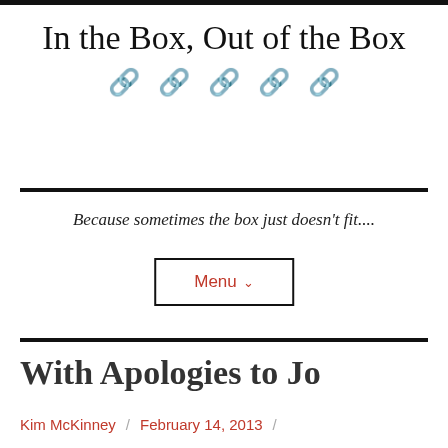In the Box, Out of the Box
Because sometimes the box just doesn't fit....
Menu ∨
With Apologies to Jo
Kim McKinney / February 14, 2013 /